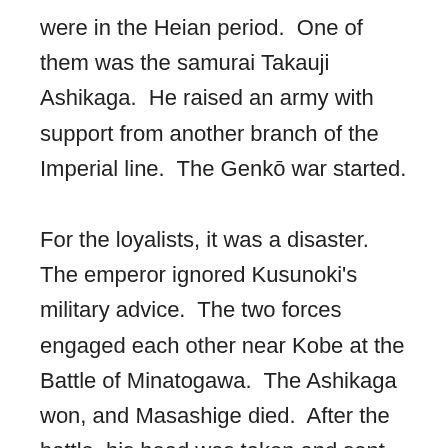were in the Heian period.  One of them was the samurai Takauji Ashikaga.  He raised an army with support from another branch of the Imperial line.  The Genkō war started.
For the loyalists, it was a disaster.  The emperor ignored Kusunoki's military advice.  The two forces engaged each other near Kobe at the Battle of Minatogawa.  The Ashikaga won, and Masashige died.  After the battle, his head was taken and sent to Kanshin-Ji (temple) for burial.  The new court branded him a traitor.  It is no surprise he dropped out of history for a time!
Things change, though.  During the Edo period, Neo-